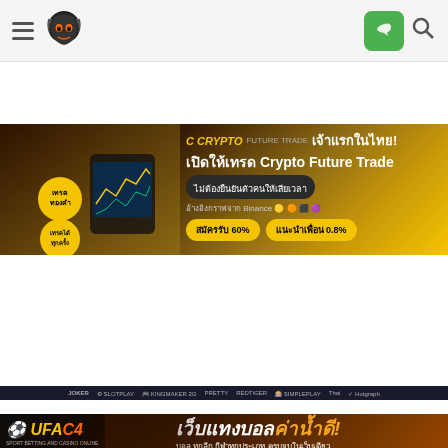[Figure (screenshot): Navigation bar with hamburger menu, dark skull/fox logo, green LINE button icon, and search icon on light gray background]
[Figure (screenshot): Hotgraph88 banner: crypto trading advertisement with Thai text. CRYPTO FUTURE TRADE - เจ้าแรกในไทย! เปิดให้เทรด Crypto Future Trade. สมัครรับ 60% แนะนำเพื่อน 0.8%]
[Figure (screenshot): Brand logos bar: JOKER, various casino brand logos on dark background]
[Figure (screenshot): UFAC4 banner: เว็บแทงบอลค่าน้ำดี! บอล ทุกลีก กีฬาทุกประเภท ครบจบในเว็บเดียว คาสิโน สล็อต ยิงปลา หวย ครบทุกวงจร ถอนสูงสุด 10ล้าน ภายใน 1 นาที สมาชิกใหม่รับ50% แนะนำเพื่อนรับ0.6% คืนยอดเสียรับ0.3%]
[Figure (screenshot): SSGAME56 banner: คาสิโน ONLINE ฝากถอนออโต้10 5 บอล หวย มวย สล็อต บาคาร่า มีครบในเว็บเดียว กระเป๋าเดียวไม่ต้องโยกเงิน!! ฝาก 1,000 รับเพิ่มทันที 1,600 โปรรายวันรับ 20%]
[Figure (screenshot): Brand logos bar at bottom: JOKER, GAMEPLAY, KINGMAKER, PRETTY and other casino brand logos]